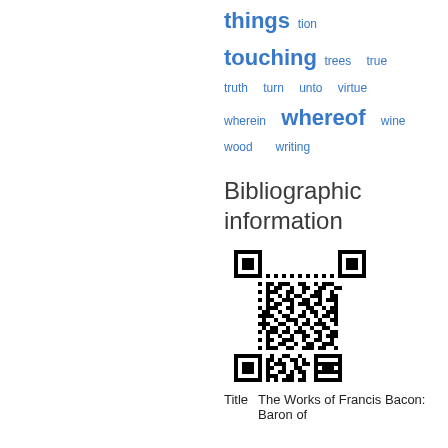[Figure (other): Word cloud with blue text words: things, tion (small), touching (large), trees, true, truth, turn, unto, virtue, wherein, whereof (large), wine, wood, writing]
Bibliographic information
[Figure (other): QR code (black and white matrix barcode)]
| Title | The Works of Francis Bacon: Baron of |